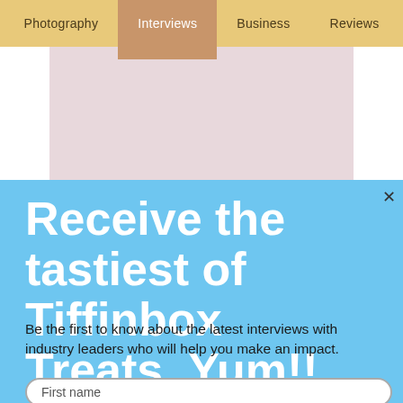Photography | Interviews | Business | Reviews
[Figure (photo): Light pinkish-beige placeholder image area behind the modal overlay]
Receive the tastiest of Tiffinbox Treats. Yum!!
Be the first to know about the latest interviews with industry leaders who will help you make an impact.
First name